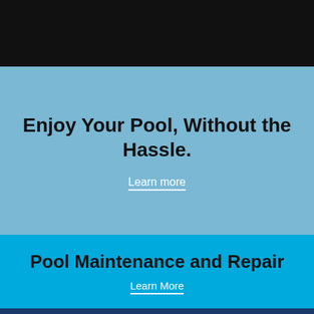[Figure (other): Black navigation bar at top of webpage]
Enjoy Your Pool, Without the Hassle.
Learn more
Pool Maintenance and Repair
Learn More